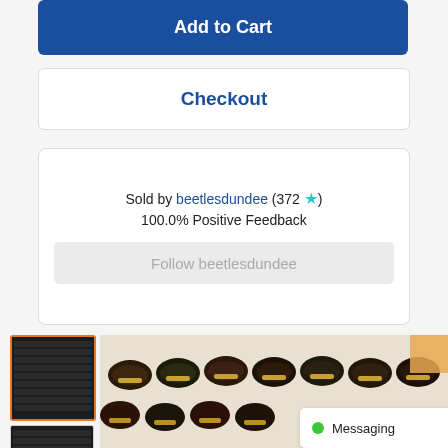Add to Cart
Checkout
Sold by beetlesdundee (372 ★)
100.0% Positive Feedback
Follow beetlesdundee
[Figure (photo): Thumbnail image of beetle specimens arranged in rows]
[Figure (photo): Second thumbnail image of beetle specimens]
[Figure (photo): Main large image showing rows of beetle specimens displayed on a white surface]
Messaging